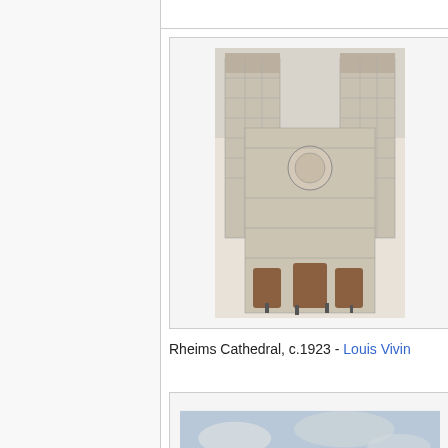[Figure (illustration): Painting of Rheims Cathedral, c.1923 by Louis Vivin. Gothic cathedral facade with twin towers.]
Rheims Cathedral, c.1923 - Louis Vivin
[Figure (illustration): Painting titled Scene du village by Louis Vivin. Village scene with stone houses, red roofs, and figures in a courtyard.]
Scene du village - Louis Vivin